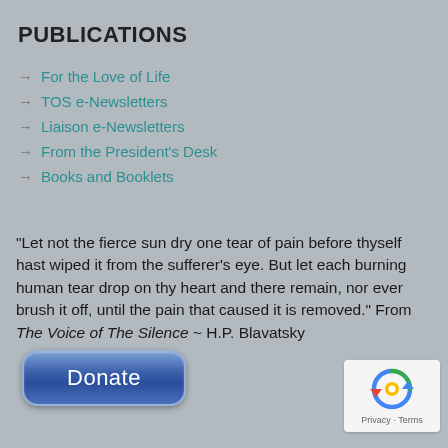PUBLICATIONS
For the Love of Life
TOS e-Newsletters
Liaison e-Newsletters
From the President's Desk
Books and Booklets
"Let not the fierce sun dry one tear of pain before thyself hast wiped it from the sufferer’s eye. But let each burning human tear drop on thy heart and there remain, nor ever brush it off, until the pain that caused it is removed." From The Voice of The Silence ~ H.P. Blavatsky
[Figure (other): Blue rounded Donate button]
[Figure (other): reCAPTCHA logo with Privacy - Terms text]